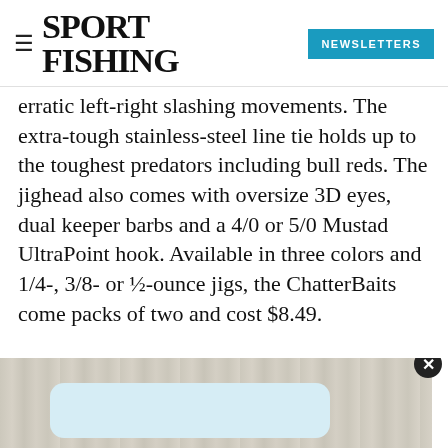SPORT FISHING | NEWSLETTERS
erratic left-right slashing movements. The extra-tough stainless-steel line tie holds up to the toughest predators including bull reds. The jighead also comes with oversize 3D eyes, dual keeper barbs and a 4/0 or 5/0 Mustad UltraPoint hook. Available in three colors and 1/4-, 3/8- or ½-ounce jigs, the ChatterBaits come packs of two and cost $8.49.
[Figure (photo): Bottom portion of image showing a light wood-grain surface with a light blue rounded rectangle card element, and a close/X button in the bottom right corner.]